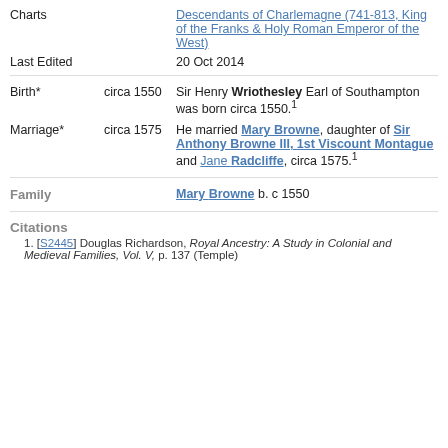Charts | Descendants of Charlemagne (741-813, King of the Franks & Holy Roman Emperor of the West)
Last Edited | 20 Oct 2014
Birth* | circa 1550 | Sir Henry Wriothesley Earl of Southampton was born circa 1550.1
Marriage* | circa 1575 | He married Mary Browne, daughter of Sir Anthony Browne III, 1st Viscount Montague and Jane Radcliffe, circa 1575.1
Family | Mary Browne b. c 1550
Citations
1. [S2445] Douglas Richardson, Royal Ancestry: A Study in Colonial and Medieval Families, Vol. V, p. 137 (Temple)